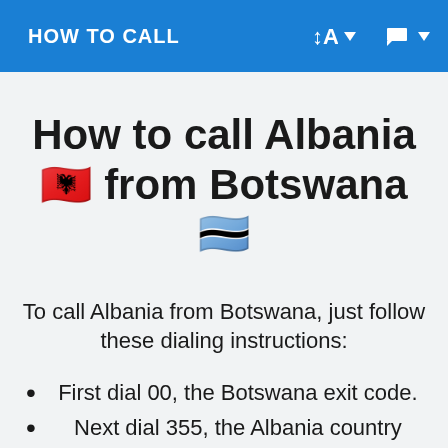HOW TO CALL
How to call Albania🇦🇱 from Botswana🇧🇼
To call Albania from Botswana, just follow these dialing instructions:
First dial 00, the Botswana exit code.
Next dial 355, the Albania country